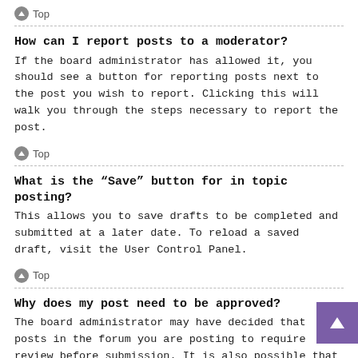↑ Top
How can I report posts to a moderator?
If the board administrator has allowed it, you should see a button for reporting posts next to the post you wish to report. Clicking this will walk you through the steps necessary to report the post.
↑ Top
What is the “Save” button for in topic posting?
This allows you to save drafts to be completed and submitted at a later date. To reload a saved draft, visit the User Control Panel.
↑ Top
Why does my post need to be approved?
The board administrator may have decided that posts in the forum you are posting to require review before submission. It is also possible that the administrator has placed you in a group of users whose posts require review